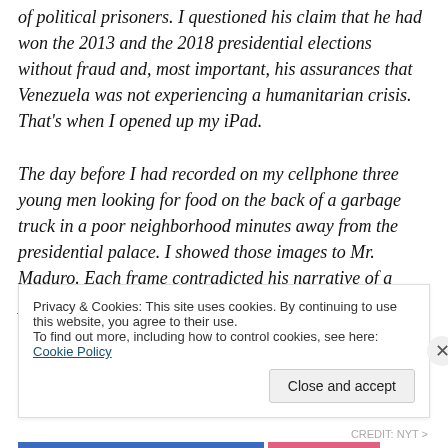of political prisoners. I questioned his claim that he had won the 2013 and the 2018 presidential elections without fraud and, most important, his assurances that Venezuela was not experiencing a humanitarian crisis. That's when I opened up my iPad.

The day before I had recorded on my cellphone three young men looking for food on the back of a garbage truck in a poor neighborhood minutes away from the presidential palace. I showed those images to Mr. Maduro. Each frame contradicted his narrative of a prosperous and
Privacy & Cookies: This site uses cookies. By continuing to use this website, you agree to their use.
To find out more, including how to control cookies, see here: Cookie Policy